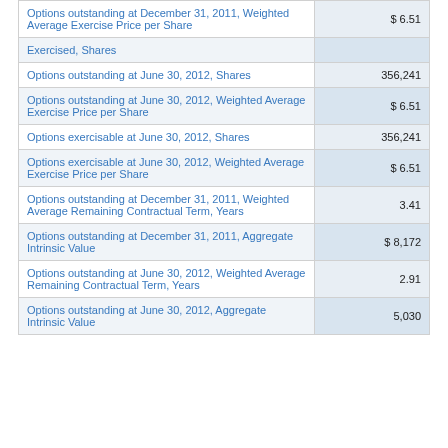| Description | Value |
| --- | --- |
| Options outstanding at December 31, 2011, Weighted Average Exercise Price per Share | $ 6.51 |
| Exercised, Shares |  |
| Options outstanding at June 30, 2012, Shares | 356,241 |
| Options outstanding at June 30, 2012, Weighted Average Exercise Price per Share | $ 6.51 |
| Options exercisable at June 30, 2012, Shares | 356,241 |
| Options exercisable at June 30, 2012, Weighted Average Exercise Price per Share | $ 6.51 |
| Options outstanding at December 31, 2011, Weighted Average Remaining Contractual Term, Years | 3.41 |
| Options outstanding at December 31, 2011, Aggregate Intrinsic Value | $ 8,172 |
| Options outstanding at June 30, 2012, Weighted Average Remaining Contractual Term, Years | 2.91 |
| Options outstanding at June 30, 2012, Aggregate Intrinsic Value | 5,030 |